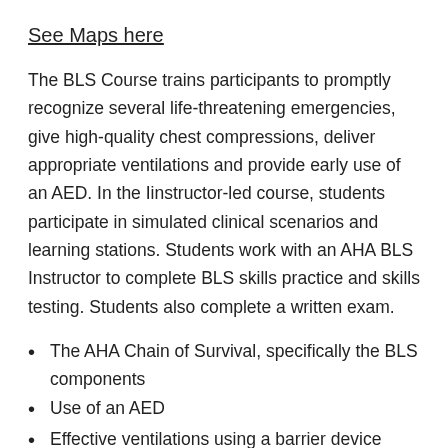See Maps here
The BLS Course trains participants to promptly recognize several life-threatening emergencies, give high-quality chest compressions, deliver appropriate ventilations and provide early use of an AED. In the Iinstructor-led course, students participate in simulated clinical scenarios and learning stations. Students work with an AHA BLS Instructor to complete BLS skills practice and skills testing. Students also complete a written exam.
The AHA Chain of Survival, specifically the BLS components
Use of an AED
Effective ventilations using a barrier device
Importance of teams in multirescuer resuscitation and performance as an effective team member during